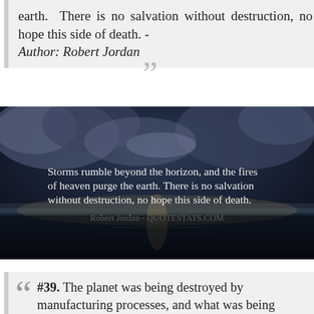earth. There is no salvation without destruction, no hope this side of death. - Author: Robert Jordan
[Figure (photo): Dark atmospheric image of stormy sky and horizon over water with white text overlay: 'Storms rumble beyond the horizon, and the fires of heaven purge the earth. There is no salvation without destruction, no hope this side of death.' attributed to 'Robert Jordan - QUOTESTATS.COM']
#39. The planet was being destroyed by manufacturing processes, and what was being manufactured was lousy, by and